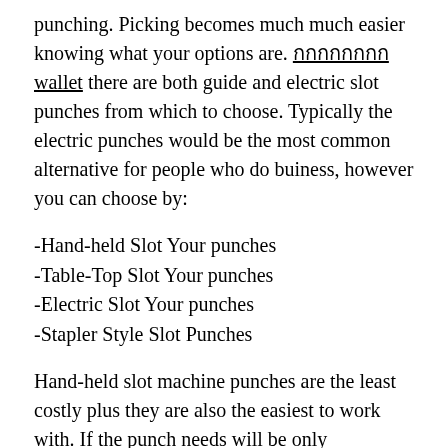punching. Picking becomes much much easier knowing what your options are. กกกกกกกก wallet there are both guide and electric slot punches from which to choose. Typically the electric punches would be the most common alternative for people who do buiness, however you can choose by:
-Hand-held Slot Your punches
-Table-Top Slot Your punches
-Electric Slot Your punches
-Stapler Style Slot Punches
Hand-held slot machine punches are the least costly plus they are also the easiest to work with. If the punch needs will be only occasionally, the particular hand-held punch could possibly be all you need. This isn't a fantastic option if you are going to be doing some sort of lot of punching, and generally not really the best choice for a good office. Yet ,